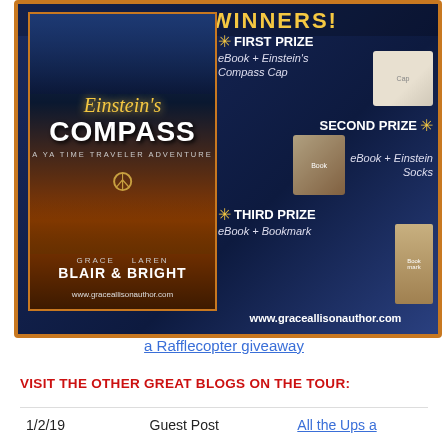[Figure (infographic): Einstein's Compass book giveaway banner showing three prize tiers (First Prize: eBook + Einstein's Compass Cap, Second Prize: eBook + Einstein Socks, Third Prize: eBook + Bookmark) with the book cover on the left. Website: www.graceallisonauthor.com]
a Rafflecopter giveaway
VISIT THE OTHER GREAT BLOGS ON THE TOUR:
| Date | Type | Blog |
| --- | --- | --- |
| 1/2/19 | Guest Post | All the Ups a |